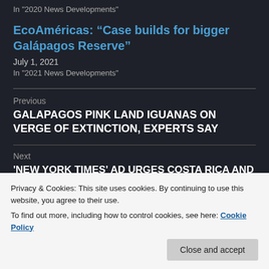In "2020 News Developments"
EcoAméricas: “Case builds for bigger Galápagos Reserve”
July 1, 2021
In "2021 News Developments"
Previous
GALAPAGOS PINK LAND IGUANAS ON VERGE OF EXTINCTION, EXPERTS SAY
Next
'NEW YORK TIMES' AD URGES COSTA RICA AND
Privacy & Cookies: This site uses cookies. By continuing to use this website, you agree to their use.
To find out more, including how to control cookies, see here: Cookie Policy
Close and accept